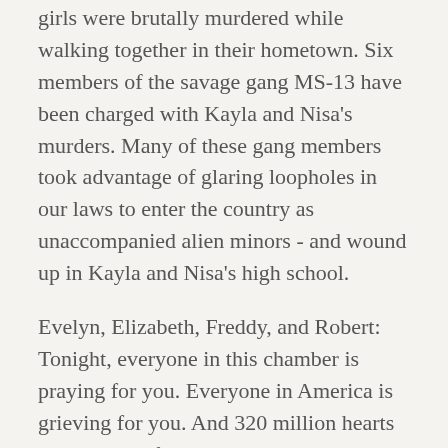girls were brutally murdered while walking together in their hometown. Six members of the savage gang MS-13 have been charged with Kayla and Nisa's murders. Many of these gang members took advantage of glaring loopholes in our laws to enter the country as unaccompanied alien minors - and wound up in Kayla and Nisa's high school.
Evelyn, Elizabeth, Freddy, and Robert: Tonight, everyone in this chamber is praying for you. Everyone in America is grieving for you. And 320 million hearts are breaking for you. We cannot imagine the depth of your sorrow, but we can make sure that other families never have to endure this pain.
Tonight, I am calling on the Congress to finally close the deadly loopholes that have allowed MS-13, and